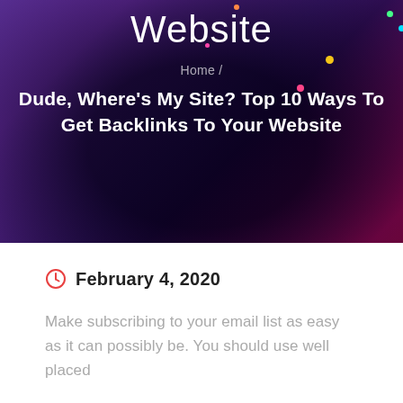[Figure (photo): Dark hero banner image with purple/blue tones, silhouette of a person, and decorative colorful lights, serving as a website header background]
Website
Home /
Dude, Where's My Site? Top 10 Ways To Get Backlinks To Your Website
February 4, 2020
Make subscribing to your email list as easy as it can possibly be. You should use well placed